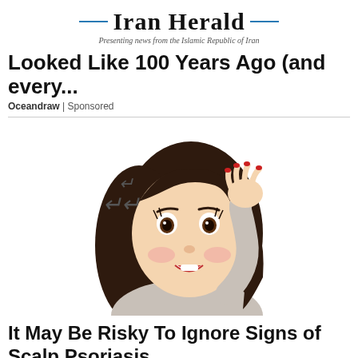Iran Herald — Presenting news from the Islamic Republic of Iran
Looked Like 100 Years Ago (and every...
Oceandraw | Sponsored
[Figure (illustration): Cartoon illustration of a worried young woman with dark hair holding her hand to her head, with small swirl symbols indicating dizziness or distress]
It May Be Risky To Ignore Signs of Scalp Psoriasis